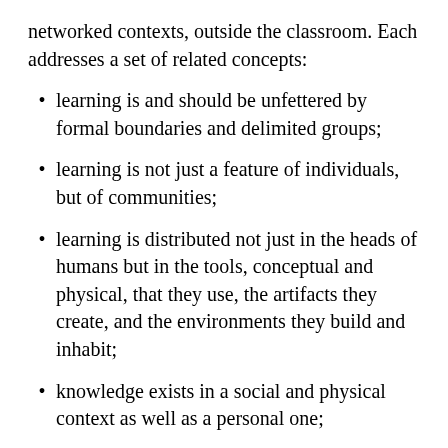networked contexts, outside the classroom. Each addresses a set of related concepts:
learning is and should be unfettered by formal boundaries and delimited groups;
learning is not just a feature of individuals, but of communities;
learning is distributed not just in the heads of humans but in the tools, conceptual and physical, that they use, the artifacts they create, and the environments they build and inhabit;
knowledge exists in a social and physical context as well as a personal one;
structure and meaning can be an emergent feature of the dynamic learning system in